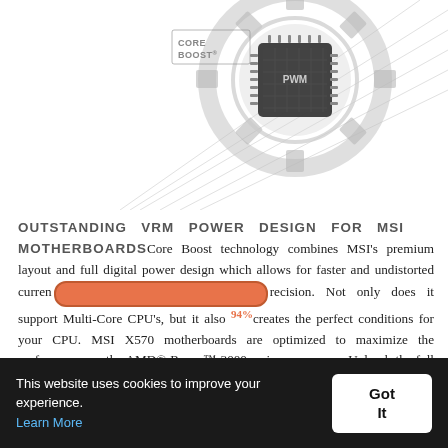[Figure (illustration): MSI Core Boost logo and chip/gear graphic — a silver mechanical gear with circuit chip at center labeled PWM, with diagonal silver stripe elements and 'CORE BOOST' text logo overlay in top-left area]
OUTSTANDING VRM POWER DESIGN FOR MSI MOTHERBOARDSCore Boost technology combines MSI's premium layout and full digital power design which allows for faster and undistorted current [orange bar overlay] precision. Not only does it support Multi-Core CPU's, but it also 94% creates the perfect conditions for your CPU. MSI X570 motherboards are optimized to maximize the performance on the AMD® Ryzen™ 3000 series processors. Unleash the full potential of your system through optimized PCB and power delivery design with load line calibration
This website uses cookies to improve your experience. Learn More  Got It